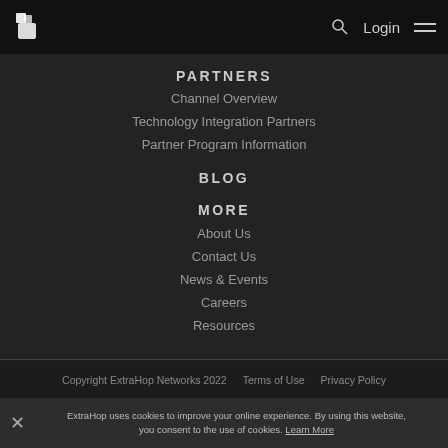ExtraHop navigation bar with logo, search, Login, and hamburger menu
PARTNERS
Channel Overview
Technology Integration Partners
Partner Program Information
BLOG
MORE
About Us
Contact Us
News & Events
Careers
Resources
Copyright ExtraHop Networks 2022   Terms of Use   Privacy Policy
ExtraHop uses cookies to improve your online experience. By using this website, you consent to the use of cookies. Learn More